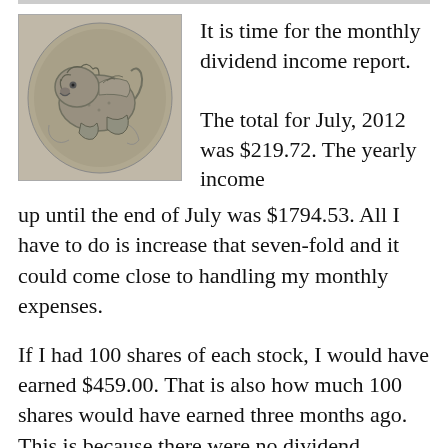[Figure (photo): A silver ancient coin with an engraved animal (lion or similar creature) design on its face, shown in grayscale.]
It is time for the monthly dividend income report.

The total for July, 2012 was $219.72. The yearly income up until the end of July was $1794.53. All I have to do is increase that seven-fold and it could come close to handling my monthly expenses.
If I had 100 shares of each stock, I would have earned $459.00. That is also how much 100 shares would have earned three months ago. This is because there were no dividend increased this month. But the income from three months ago was $218.56. I have resumed having my broker reinvest the shares automatically